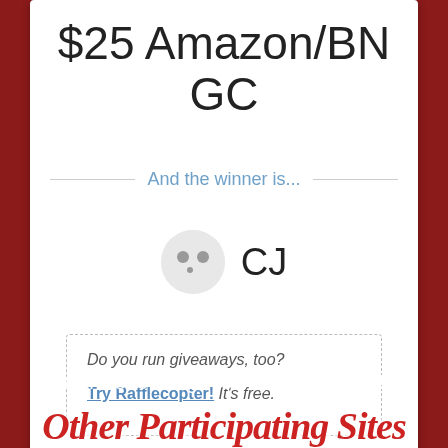$25 Amazon/BN GC
And the winner is...
CJ
Do you run giveaways, too? Try Rafflecopter! It's free.
powered by Rafflecopter
Can't see the giveaway?  Click Here!
Other Participating Sites